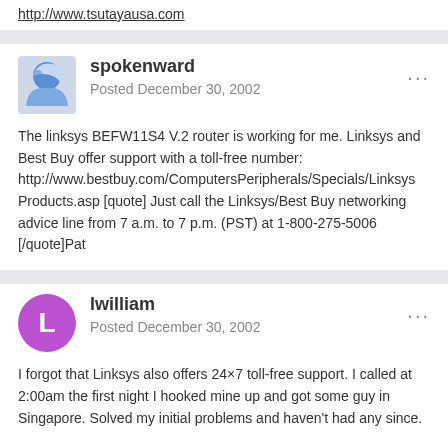http://www.tsutayausa.com
spokenward
Posted December 30, 2002
The linksys BEFW11S4 V.2 router is working for me. Linksys and Best Buy offer support with a toll-free number: http://www.bestbuy.com/ComputersPeripherals/Specials/LinksysProducts.asp [quote] Just call the Linksys/Best Buy networking advice line from 7 a.m. to 7 p.m. (PST) at 1-800-275-5006 [/quote]Pat
lwilliam
Posted December 30, 2002
I forgot that Linksys also offers 24×7 toll-free support. I called at 2:00am the first night I hooked mine up and got some guy in Singapore. Solved my initial problems and haven't had any since.